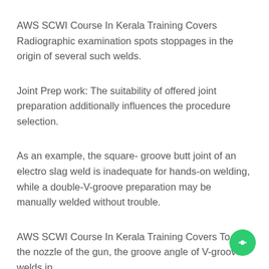AWS SCWI Course In Kerala Training Covers Radiographic examination spots stoppages in the origin of several such welds.
Joint Prep work: The suitability of offered joint preparation additionally influences the procedure selection.
As an example, the square- groove butt joint of an electro slag weld is inadequate for hands-on welding, while a double-V-groove preparation may be manually welded without trouble.
AWS SCWI Course In Kerala Training Covers To suit the nozzle of the gun, the groove angle of V-groove welds in